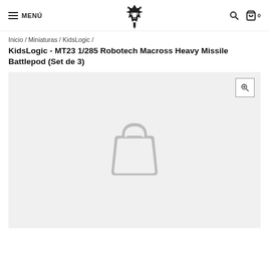MENÚ | Logo | Search | Cart 0
Inicio / Miniaturas / KidsLogic /
KidsLogic - MT23 1/285 Robotech Macross Heavy Missile Battlepod (Set de 3)
[Figure (photo): Product image placeholder showing a shopping bag icon on a light grey background with a zoom icon in the top right corner]